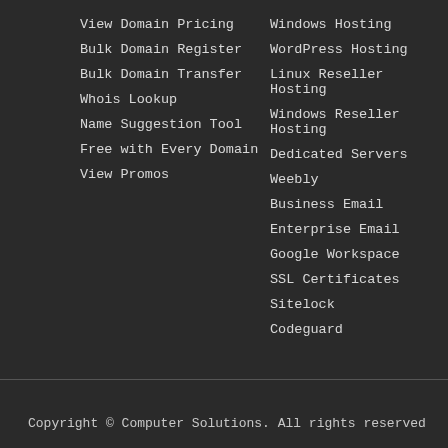View Domain Pricing
Bulk Domain Register
Bulk Domain Transfer
Whois Lookup
Name Suggestion Tool
Free with Every Domain
View Promos
Windows Hosting
WordPress Hosting
Linux Reseller Hosting
Windows Reseller Hosting
Dedicated Servers
Weebly
Business Email
Enterprise Email
Google Workspace
SSL Certificates
Sitelock
Codeguard
Copyright © Computer Solutions. All rights reserved